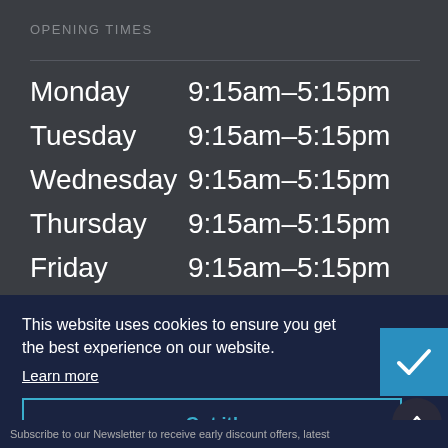OPENING TIMES
| Day | Hours |
| --- | --- |
| Monday | 9:15am–5:15pm |
| Tuesday | 9:15am–5:15pm |
| Wednesday | 9:15am–5:15pm |
| Thursday | 9:15am–5:15pm |
| Friday | 9:15am–5:15pm |
This website uses cookies to ensure you get the best experience on our website.
Learn more
Got it!
Subscribe to our Newsletter to receive early discount offers, latest